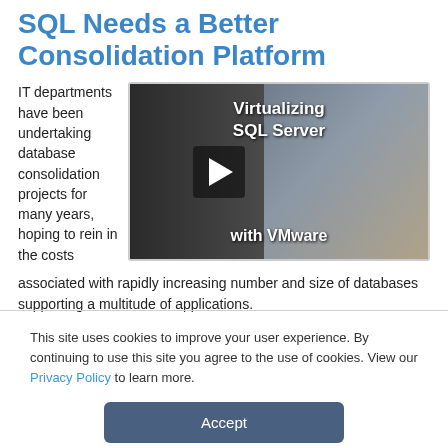SQL Needs a Better Consolidation Platform
IT departments have been undertaking database consolidation projects for many years, hoping to rein in the costs associated with rapidly increasing number and size of databases supporting a multitude of applications.
[Figure (screenshot): Video thumbnail showing 'Virtualizing SQL Server with VMware' with a play button overlay and a man in a blue shirt on the right side]
This site uses cookies to improve your user experience. By continuing to use this site you agree to the use of cookies. View our Privacy Policy to learn more.
Accept